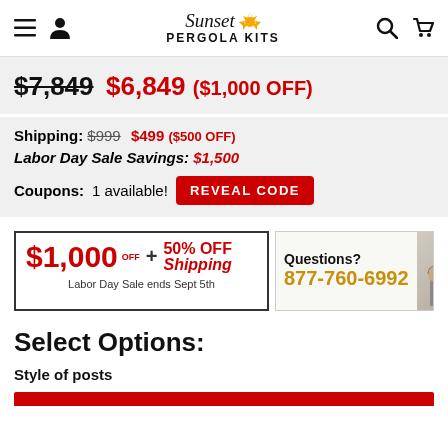Sunset Pergola Kits — navigation bar
$7,849 $6,849 ($1,000 OFF)
Shipping: $999 $499 ($500 OFF)
Labor Day Sale Savings: $1,500
Coupons: 1 available! REVEAL CODE
[Figure (infographic): Labor Day Sale banner: $1,000 OFF + 50% OFF Shipping. Labor Day Sale ends Sept 5th. Questions? 877-760-6992 with customer service photo.]
Select Options:
Style of posts